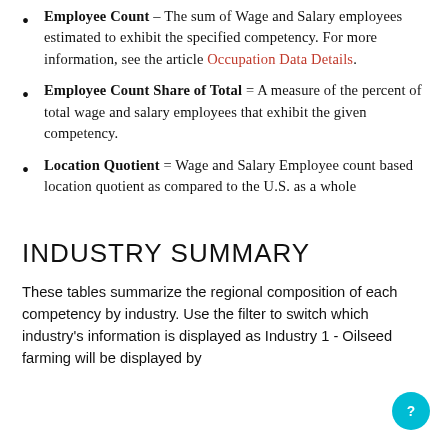Employee Count – The sum of Wage and Salary employees estimated to exhibit the specified competency. For more information, see the article Occupation Data Details.
Employee Count Share of Total = A measure of the percent of total wage and salary employees that exhibit the given competency.
Location Quotient = Wage and Salary Employee count based location quotient as compared to the U.S. as a whole
INDUSTRY SUMMARY
These tables summarize the regional composition of each competency by industry. Use the filter to switch which industry's information is displayed as Industry 1 - Oilseed farming will be displayed by